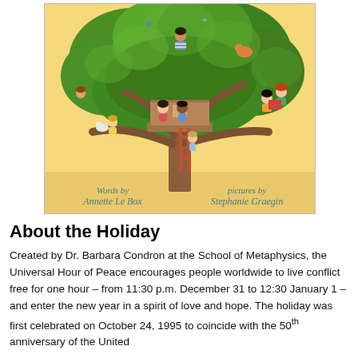[Figure (illustration): Book cover illustration showing a large tree with a treehouse. Multiple diverse children are sitting in the branches and inside the treehouse. Some hold books or pets. A ladder leads up to the treehouse. Text on cover reads 'Words by Annette Le Box' and 'pictures by Stephanie Graegin'.]
About the Holiday
Created by Dr. Barbara Condron at the School of Metaphysics, the Universal Hour of Peace encourages people worldwide to live conflict free for one hour – from 11:30 p.m. December 31 to 12:30 January 1 – and enter the new year in a spirit of love and hope. The holiday was first celebrated on October 24, 1995 to coincide with the 50th anniversary of the United